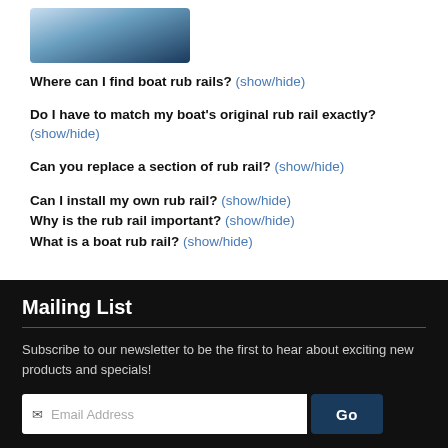[Figure (photo): Partial photo of a person wearing a blue top, cropped at the top of the page]
Where can I find boat rub rails? (show/hide)
Do I have to match my boat's original rub rail exactly? (show/hide)
Can you replace a section of rub rail? (show/hide)
Can I install my own rub rail? (show/hide)
Why is the rub rail important? (show/hide)
What is a boat rub rail? (show/hide)
Mailing List
Subscribe to our newsletter to be the first to hear about exciting new products and specials!